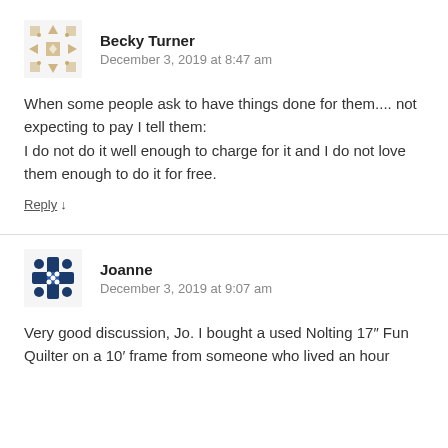[Figure (illustration): Avatar icon for Becky Turner: a tan/gold decorative quilt-style snowflake pattern]
Becky Turner
December 3, 2019 at 8:47 am
When some people ask to have things done for them.... not expecting to pay I tell them:
I do not do it well enough to charge for it and I do not love them enough to do it for free.
Reply ↓
[Figure (illustration): Avatar icon for Joanne: a dark navy blue decorative quilt-style cross/snowflake pattern]
Joanne
December 3, 2019 at 9:07 am
Very good discussion, Jo. I bought a used Nolting 17″ Fun Quilter on a 10′ frame from someone who lived an hour